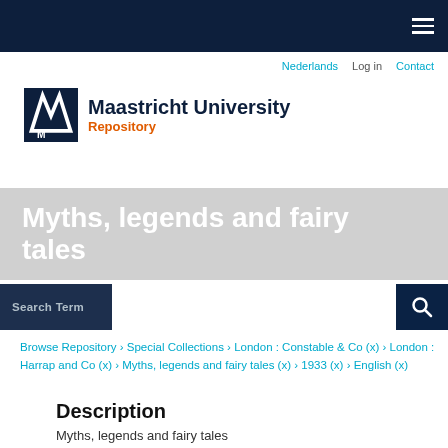≡ (hamburger menu)
Nederlands · Log in · Contact
[Figure (logo): Maastricht University logo with UM triangle mark]
Maastricht University Repository
Myths, legends and fairy tales
Search Term [search input]
Browse Repository › Special Collections › London : Constable & Co (x) › London : Harrap and Co (x) › Myths, legends and fairy tales (x) › 1933 (x) › English (x)
Description
Myths, legends and fairy tales